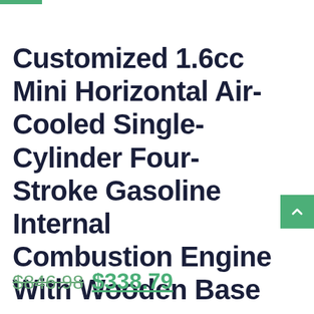Customized 1.6cc Mini Horizontal Air-Cooled Single-Cylinder Four-Stroke Gasoline Internal Combustion Engine With Wooden Base
$846.98 $338.79